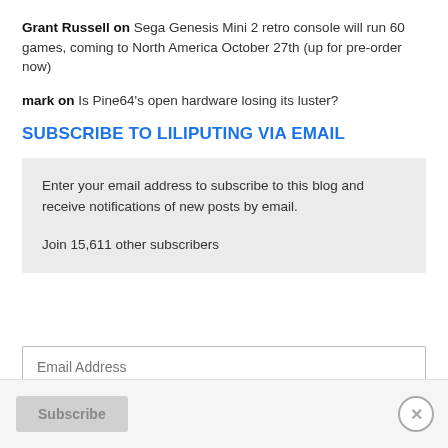Grant Russell on Sega Genesis Mini 2 retro console will run 60 games, coming to North America October 27th (up for pre-order now)
mark on Is Pine64's open hardware losing its luster?
SUBSCRIBE TO LILIPUTING VIA EMAIL
Enter your email address to subscribe to this blog and receive notifications of new posts by email.

Join 15,611 other subscribers
Email Address
Subscribe